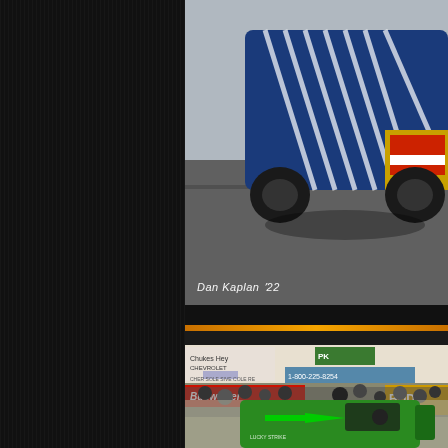[Figure (photo): Close-up of blue drag racing car with diagonal stripe livery on a drag strip, rear view showing tires and body. Photo credit: Dan Kaplan '22]
[Figure (photo): Green drag racing car at starting line with crowd and sponsor banners (Budweiser, 1-800-225-8254, PKL, Chevy) visible in background. Car has arrow graphic on side.]